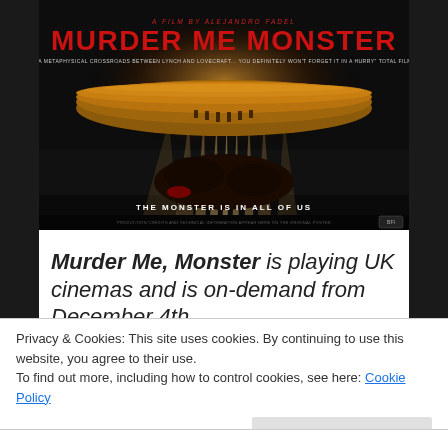[Figure (photo): Movie poster for 'Murder Me Monster' directed by Alejandro Fadel. Dark background with large red title text 'MURDER ME MONSTER' at top, tagline 'A METAPHYSICAL CROSSROADS BETWEEN LYNCH AND LOVECRAFT... YOU DEFINITELY WON'T FORGET IT IN A HURRY', a large luminous disc/UFO-like object, silhouette of a body on the ground, and text 'THE MONSTER IS IN ALL OF US' at the bottom.]
Murder Me, Monster is playing UK cinemas and is on-demand from December 4th.
Privacy & Cookies: This site uses cookies. By continuing to use this website, you agree to their use.
To find out more, including how to control cookies, see here: Cookie Policy